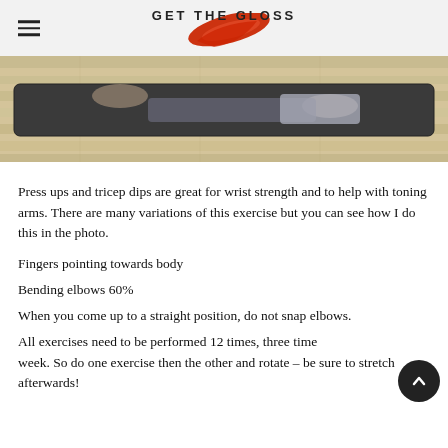GET THE GLOSS
[Figure (photo): Person performing a press-up / tricep dip on a dark yoga mat on a wooden floor, viewed from above/side]
Press ups and tricep dips are great for wrist strength and to help with toning arms. There are many variations of this exercise but you can see how I do this in the photo.
Fingers pointing towards body
Bending elbows 60%
When you come up to a straight position, do not snap elbows.
All exercises need to be performed 12 times, three times a week. So do one exercise then the other and rotate – be sure to stretch afterwards!